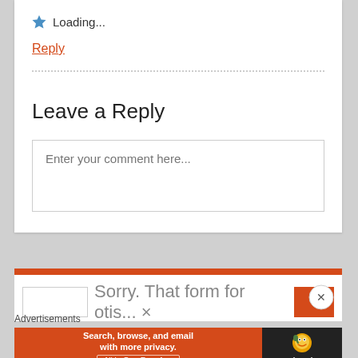Loading...
Reply
Leave a Reply
Enter your comment here...
Sorry. That form for otis... ×
Advertisements
[Figure (screenshot): DuckDuckGo advertisement banner: 'Search, browse, and email with more privacy. All in One Free App'. DuckDuckGo logo on dark background on right side.]